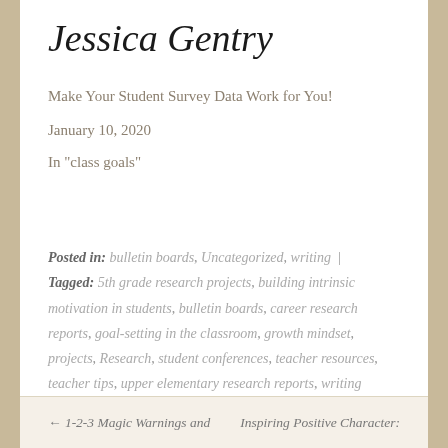Jessica Gentry
Make Your Student Survey Data Work for You!
January 10, 2020
In "class goals"
Posted in: bulletin boards, Uncategorized, writing | Tagged: 5th grade research projects, building intrinsic motivation in students, bulletin boards, career research reports, goal-setting in the classroom, growth mindset, projects, Research, student conferences, teacher resources, teacher tips, upper elementary research reports, writing
← 1-2-3 Magic Warnings and    Inspiring Positive Character: